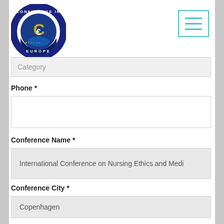[Figure (logo): Conference in Europe circular logo with blue and gold design]
Category (partial input field, cropped at top)
Phone *
(empty phone input field)
Conference Name *
International Conference on Nursing Ethics and Medi
Conference City *
Copenhagen
Date of conference *